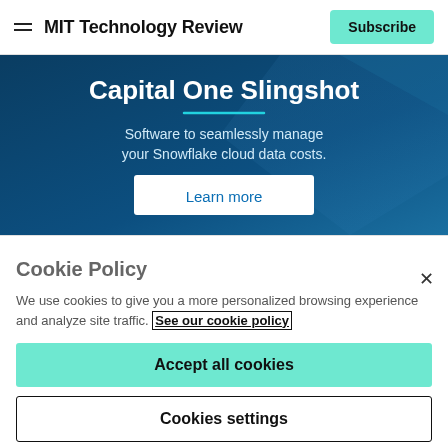MIT Technology Review | Subscribe
[Figure (illustration): Capital One Slingshot advertisement banner with dark blue background. Title: 'Capital One Slingshot', subtitle: 'Software to seamlessly manage your Snowflake cloud data costs.', with a 'Learn more' button.]
Cookie Policy
We use cookies to give you a more personalized browsing experience and analyze site traffic. See our cookie policy
Accept all cookies
Cookies settings